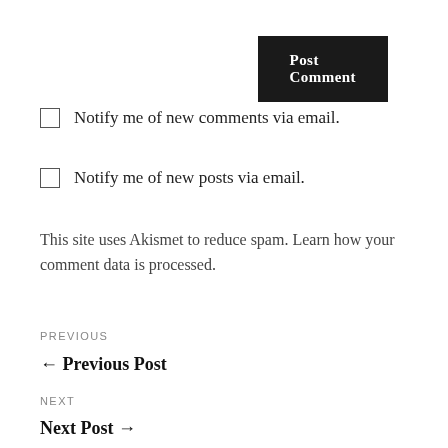Post Comment
Notify me of new comments via email.
Notify me of new posts via email.
This site uses Akismet to reduce spam. Learn how your comment data is processed.
PREVIOUS
← Previous Post
NEXT
Next Post →